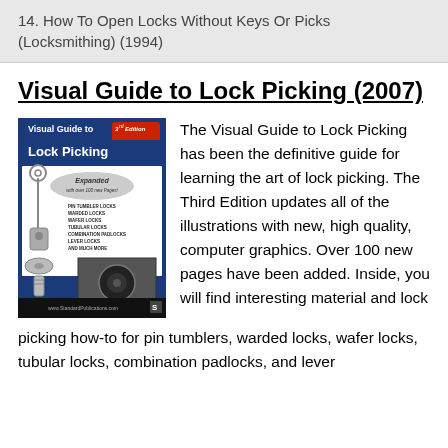14. How To Open Locks Without Keys Or Picks (Locksmithing) (1994)
Visual Guide to Lock Picking (2007)
[Figure (illustration): Book cover of Visual Guide to Lock Picking, 3rd Edition, showing lock picking illustrations and a list of topics including Pin Tumbler Locks, Warded Locks, Wafer Locks, Tubular Locks, Combination Padlocks, Lever Locks, and Much More. Published by StandardPublications.com.]
The Visual Guide to Lock Picking has been the definitive guide for learning the art of lock picking. The Third Edition updates all of the illustrations with new, high quality, computer graphics. Over 100 new pages have been added. Inside, you will find interesting material and lock picking how-to for pin tumblers, warded locks, wafer locks, tubular locks, combination padlocks, and lever